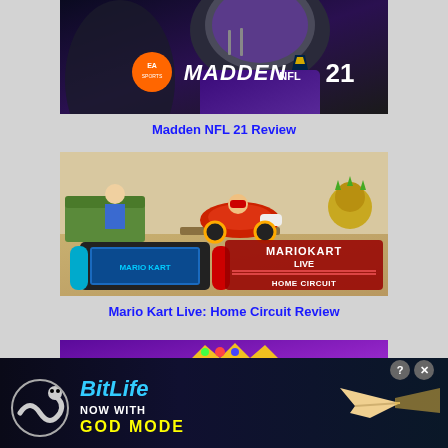[Figure (screenshot): Madden NFL 21 video game cover showing a football player in purple uniform with EA Sports logo and MADDEN NFL 21 text]
Madden NFL 21 Review
[Figure (screenshot): Mario Kart Live: Home Circuit game showing Nintendo Switch with toy kart on a table, with MARIO KART LIVE HOME CIRCUIT logo]
Mario Kart Live: Home Circuit Review
[Figure (screenshot): Partial game image with purple background showing a crown character]
[Figure (advertisement): BitLife advertisement banner showing NOW WITH GOD MODE text with snake logo and hand graphic]